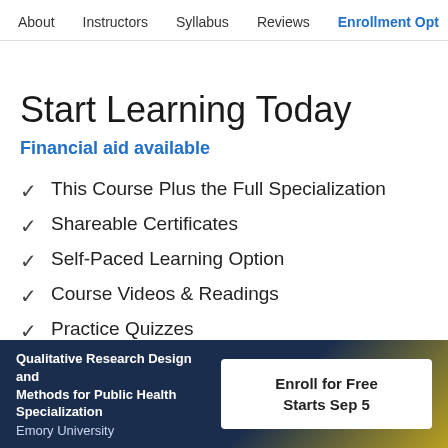About   Instructors   Syllabus   Reviews   Enrollment Opt
Start Learning Today
Financial aid available
This Course Plus the Full Specialization
Shareable Certificates
Self-Paced Learning Option
Course Videos & Readings
Practice Quizzes
Qualitative Research Design and Methods for Public Health Specialization
Emory University
Enroll for Free
Starts Sep 5